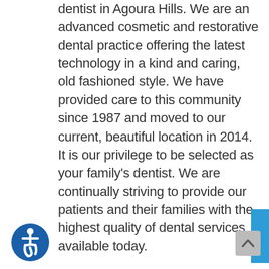Welcome to the office of Dr. Philip Shindel, your dentist in Agoura Hills. We are an advanced cosmetic and restorative dental practice offering the latest technology in a kind and caring, old fashioned style. We have provided care to this community since 1987 and moved to our current, beautiful location in 2014. It is our privilege to be selected as your family's dentist. We are continually striving to provide our patients and their families with the highest quality of dental services available today.
Our expert dentist in Agoura Hills is dedicated to providing you and your family with exceptional dental care in a comfortable state-of-the-art setting. Our ongoing efforts to keep abreast of the latest advances in allow us to offer our patients the most up to date dental services. A big conc lt community is
[Figure (other): Ad Opt Out button overlay in blue]
[Figure (other): Accessibility icon (wheelchair symbol in circular badge)]